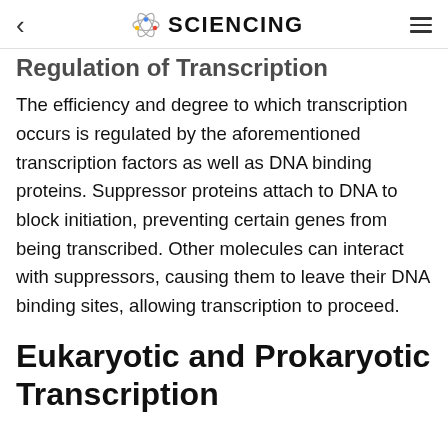< SCIENCING ≡
Regulation of Transcription
The efficiency and degree to which transcription occurs is regulated by the aforementioned transcription factors as well as DNA binding proteins. Suppressor proteins attach to DNA to block initiation, preventing certain genes from being transcribed. Other molecules can interact with suppressors, causing them to leave their DNA binding sites, allowing transcription to proceed.
Eukaryotic and Prokaryotic Transcription